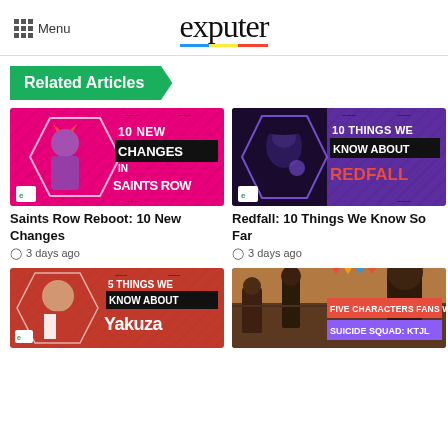Menu | exputer
Related Articles
[Figure (screenshot): Saints Row Reboot thumbnail: pink/magenta background with cartoon character, text '10 NEW CHANGES IN SAINTS ROW']
Saints Row Reboot: 10 New Changes
3 days ago
[Figure (screenshot): Redfall thumbnail: purple/dark background with character, text '10 THINGS WE KNOW ABOUT REDFALL']
Redfall: 10 Things We Know So Far
3 days ago
[Figure (screenshot): Yakuza thumbnail: red background with character, text '5 THINGS WE KNOW ABOUT YAKUZA']
[Figure (screenshot): Suicide Squad thumbnail: action scene, text 'FIVE CHARACTERS FANS WANT IN SUICIDE SQUAD: KTJL']